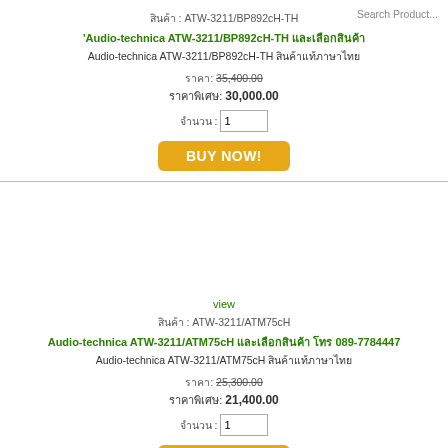สินค้า : ATW-3211/BP892cH-TH
Search Product...
Audio-technica ATW-3211/BP892cH-TH [Thai characters]
Audio-technica ATW-3211/BP892cH-TH [Thai characters]
ราคา: 35,400.00
ราคาพิเศษ: 30,000.00
จำนวน : 1
BUY NOW!
view
สินค้า : ATW-3211/ATM75cH
Audio-technica ATW-3211/ATM75cH [Thai characters] โทร 089-7784447
Audio-technica ATW-3211/ATM75cH [Thai characters]
ราคา: 25,300.00
ราคาพิเศษ: 21,400.00
จำนวน : 1
BUY NOW!